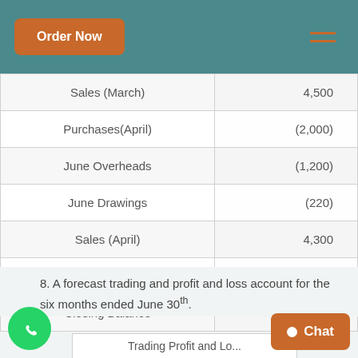Order Now
| Sales (March) | 4,500 |
| Purchases(April) | (2,000) |
| June Overheads | (1,200) |
| June Drawings | (220) |
| Sales (April) | 4,300 |
| Purchases(May) | (2,400) |
| Closing Balance | 2,080 |
8. A forecast trading and profit and loss account for the six months ended June 30th.
Trading Profit and Loss...